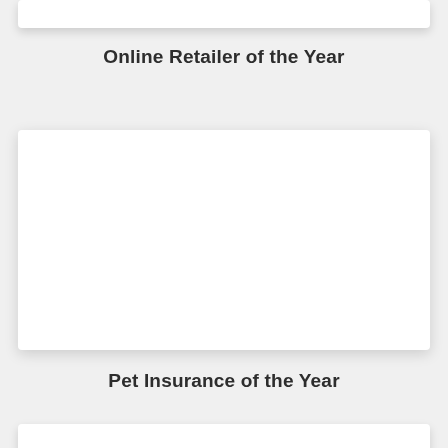[Figure (other): Partially visible white card at the top of the page]
Online Retailer of the Year
[Figure (other): Large white card/image placeholder in the center of the page]
Pet Insurance of the Year
[Figure (other): Partially visible white card at the bottom of the page]